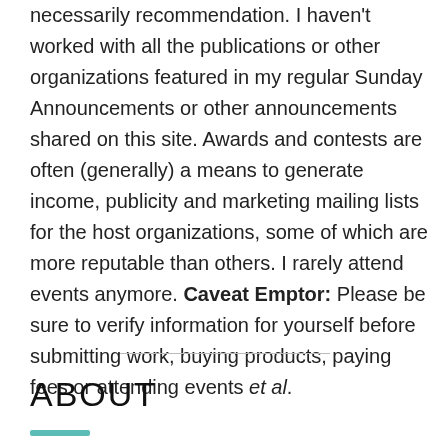necessarily recommendation. I haven't worked with all the publications or other organizations featured in my regular Sunday Announcements or other announcements shared on this site. Awards and contests are often (generally) a means to generate income, publicity and marketing mailing lists for the host organizations, some of which are more reputable than others. I rarely attend events anymore. Caveat Emptor: Please be sure to verify information for yourself before submitting work, buying products, paying fees or attending events et al.
ABOUT